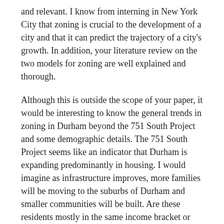and relevant. I know from interning in New York City that zoning is crucial to the development of a city and that it can predict the trajectory of a city's growth. In addition, your literature review on the two models for zoning are well explained and thorough.
Although this is outside the scope of your paper, it would be interesting to know the general trends in zoning in Durham beyond the 751 South Project and some demographic details. The 751 South Project seems like an indicator that Durham is expanding predominantly in housing. I would imagine as infrastructure improves, more families will be moving to the suburbs of Durham and smaller communities will be built. Are these residents mostly in the same income bracket or race? That would be a great topic for further research.
After reading your paper, another area I would like to know more about is environmental policy in Durham and the status of nature preservation in light of suburbanization. Is the problem at the 751 South Project unique to that area because of the aquifer and Jordan Lake or is it something that most